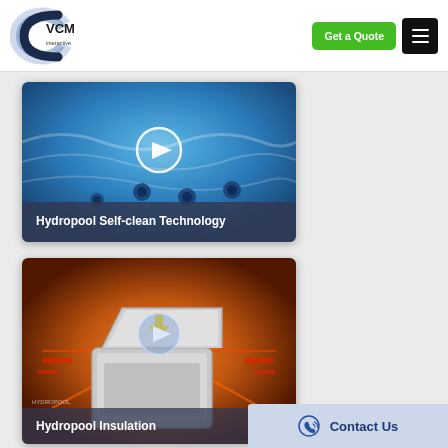[Figure (screenshot): VCM Interactive logo — stylized dark blue/gray C-shape bracket with VCM text and 'interactive' subtext]
[Figure (screenshot): Green 'Get a Quote' button and black hamburger menu button in header]
[Figure (screenshot): Video thumbnail showing blue underwater jets pool image with play button overlay]
Hydropool Self-clean Technology
[Figure (screenshot): Video thumbnail showing orange-lit spa insulation component with play button overlay]
Hydropool Insulation
[Figure (screenshot): Contact Us bar at bottom right with phone icon]